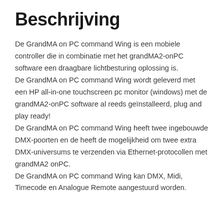Beschrijving
De GrandMA on PC command Wing is een mobiele controller die in combinatie met het grandMA2-onPC software een draagbare lichtbesturing oplossing is.
De GrandMA on PC command Wing wordt geleverd met een HP all-in-one touchscreen pc monitor (windows) met de grandMA2-onPC software al reeds geïnstalleerd, plug and play ready!
De GrandMA on PC command Wing heeft twee ingebouwde DMX-poorten en de heeft de mogelijkheid om twee extra DMX-universums te verzenden via Ethernet-protocollen met grandMA2 onPC.
De GrandMA on PC command Wing kan DMX, Midi, Timecode en Analogue Remote aangestuurd worden.